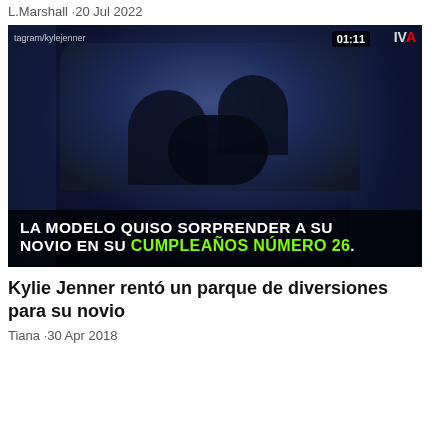L.Marshall · 20 Jul 2022
[Figure (screenshot): Video thumbnail of a dark party scene with people. Instagram watermark 'tagram/kylejenner' visible top-left. Timer '01:11' and partial logo 'IVA' top-right. Caption overlay reads: 'LA MODELO QUISO SORPRENDER A SU NOVIO EN SU CUMPLEAÑOS NÚMERO 26.']
Kylie Jenner rentó un parque de diversiones para su novio
Tiana · 30 Apr 2018